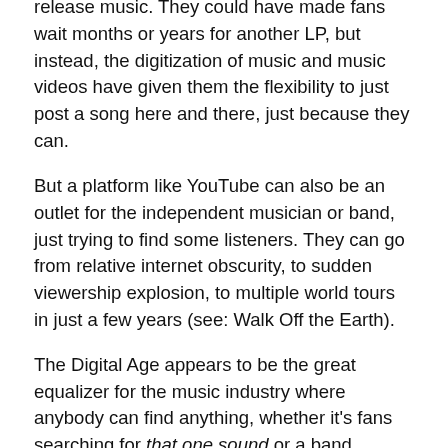release music. They could have made fans wait months or years for another LP, but instead, the digitization of music and music videos have given them the flexibility to just post a song here and there, just because they can.
But a platform like YouTube can also be an outlet for the independent musician or band, just trying to find some listeners. They can go from relative internet obscurity, to sudden viewership explosion, to multiple world tours in just a few years (see: Walk Off the Earth).
The Digital Age appears to be the great equalizer for the music industry where anybody can find anything, whether it's fans searching for that one sound or a band searching for that one listener.
Steve D